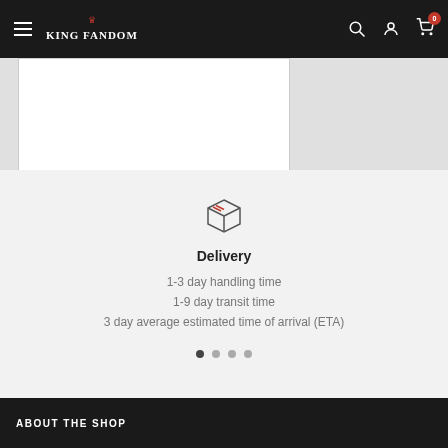King Fandom — navigation bar with menu, search, account, cart (0)
[Figure (screenshot): Product image area — white box on left, grey panel on right]
[Figure (illustration): Package/box icon outline]
Delivery
1-3 day handling time
1-9 day transit time
3 day average estimated time of arrival (ETA)
[Figure (infographic): Carousel dot indicators — 4 dots, first one active]
ABOUT THE SHOP